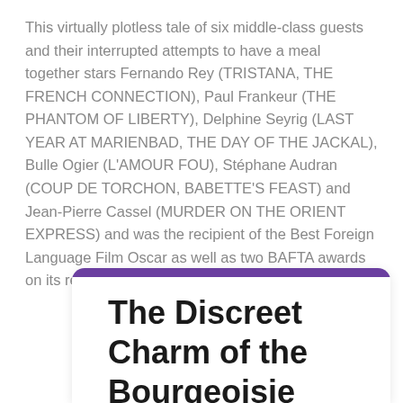This virtually plotless tale of six middle-class guests and their interrupted attempts to have a meal together stars Fernando Rey (TRISTANA, THE FRENCH CONNECTION), Paul Frankeur (THE PHANTOM OF LIBERTY), Delphine Seyrig (LAST YEAR AT MARIENBAD, THE DAY OF THE JACKAL), Bulle Ogier (L'AMOUR FOU), Stéphane Audran (COUP DE TORCHON, BABETTE'S FEAST) and Jean-Pierre Cassel (MURDER ON THE ORIENT EXPRESS) and was the recipient of the Best Foreign Language Film Oscar as well as two BAFTA awards on its release in 1972.
The Discreet Charm of the Bourgeoisie